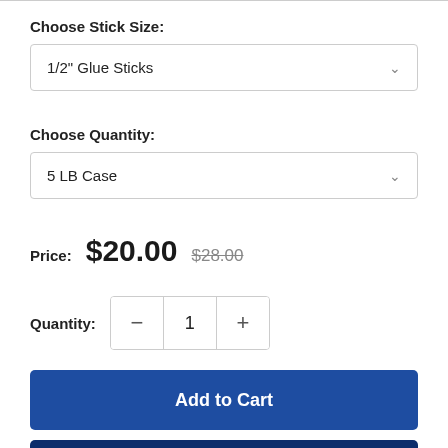Choose Stick Size:
1/2" Glue Sticks
Choose Quantity:
5 LB Case
Price: $20.00 $28.00
Quantity: 1
Add to Cart
Get Volume Pricing